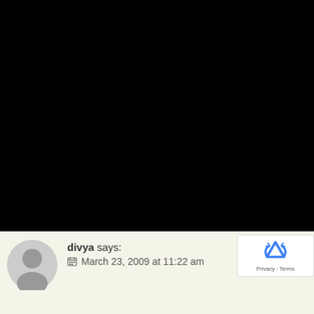[Figure (photo): Large black area covering the upper portion of the page]
divya says:
📅 March 23, 2009 at 11:22 am